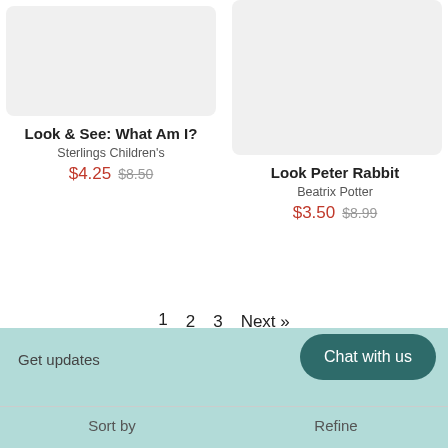[Figure (photo): Gray placeholder image for Look & See: What Am I? book]
Look & See: What Am I?
Sterlings Children's
$4.25 $8.50
[Figure (photo): Gray placeholder image for Look Peter Rabbit book]
Look Peter Rabbit
Beatrix Potter
$3.50 $8.99
1  2  3  Next »
Get updates
Chat with us
Sort by
Refine